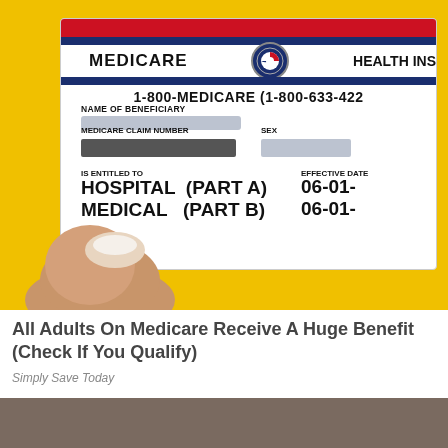[Figure (photo): Photo of a hand holding a Medicare Health Insurance card against a yellow background. The card shows: MEDICARE, HEALTH INS[URANCE], 1-800-MEDICARE (1-800-633-422[2]), NAME OF BENEFICIARY (blurred), MEDICARE CLAIM NUMBER (blurred), SEX (blurred), IS ENTITLED TO, HOSPITAL (PART A) 06-01-[year], MEDICAL (PART B) 06-01-[year]. Personal information is redacted/blurred.]
All Adults On Medicare Receive A Huge Benefit (Check If You Qualify)
Simply Save Today
[Figure (photo): Gray/brown blurred image strip at the bottom of the page.]